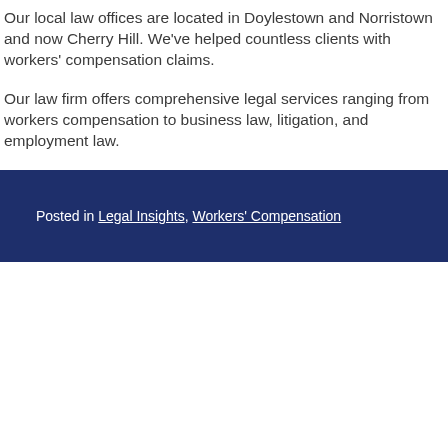Our local law offices are located in Doylestown and Norristown and now Cherry Hill. We've helped countless clients with workers' compensation claims.
Our law firm offers comprehensive legal services ranging from workers compensation to business law, litigation, and employment law.
Posted in Legal Insights, Workers' Compensation